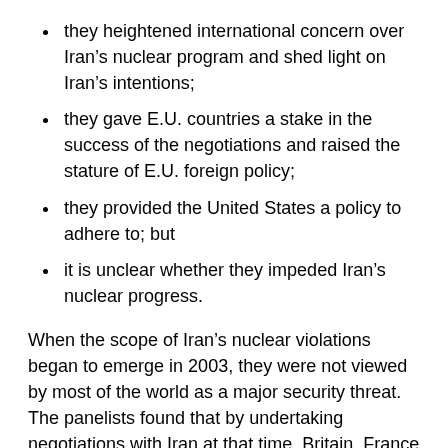they heightened international concern over Iran's nuclear program and shed light on Iran's intentions;
they gave E.U. countries a stake in the success of the negotiations and raised the stature of E.U. foreign policy;
they provided the United States a policy to adhere to; but
it is unclear whether they impeded Iran's nuclear progress.
When the scope of Iran's nuclear violations began to emerge in 2003, they were not viewed by most of the world as a major security threat.  The panelists found that by undertaking negotiations with Iran at that time, Britain, France and Germany helped the International Atomic Energy Agency gain information about Iran's nuclear activities, which gradually drew attention to how these activities violated Iran's international obligations.  The